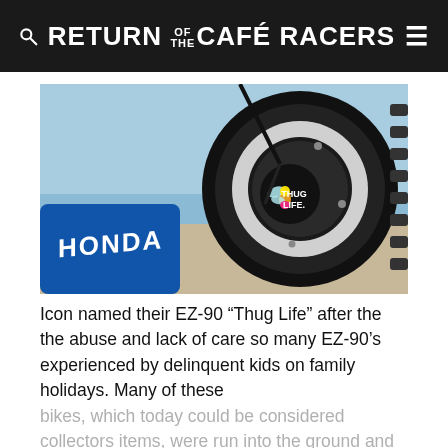RETURN OF THE CAFÉ RACERS
[Figure (photo): Close-up photo of a Honda motorcycle wheel/hub with a 'Thug Life' Tinker Bell sticker on the black brake hub. The blue Honda fuel tank is visible in the lower left, with a knobby off-road tire and blue sky in the background.]
Icon named their EZ-90 "Thug Life" after the the abuse and lack of care so many EZ-90's experienced by delinquent kids on family holidays. Many of these bikes, which today could be considered collectors items, were run into the ground and left for dead